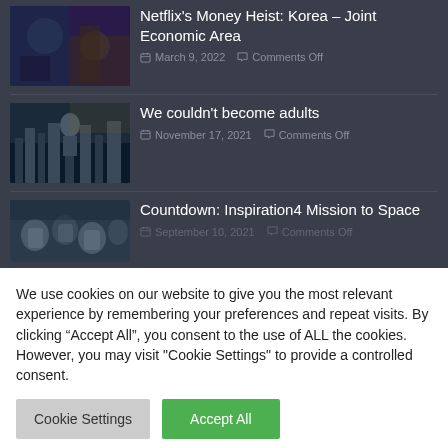[Figure (photo): Thumbnail image for Netflix's Money Heist: Korea article]
Netflix's Money Heist: Korea – Joint Economic Area
March 9, 2022  Comments Off
[Figure (photo): Thumbnail image for 'We couldn't become adults' article showing a man looking up at city skyline]
We couldn't become adults
November 17, 2021  Comments Off
[Figure (photo): Thumbnail image for Countdown: Inspiration4 Mission to Space showing people floating]
Countdown: Inspiration4 Mission to Space
September 10, 2021  Comments Off
We use cookies on our website to give you the most relevant experience by remembering your preferences and repeat visits. By clicking "Accept All", you consent to the use of ALL the cookies. However, you may visit "Cookie Settings" to provide a controlled consent.